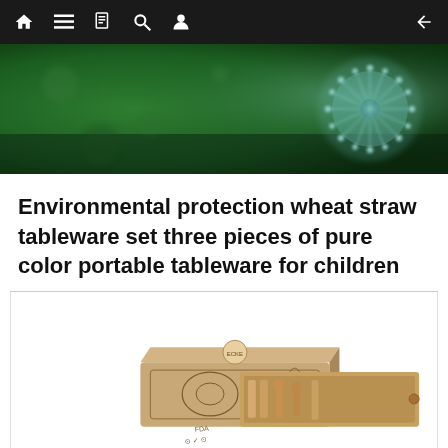Navigation bar with home, menu, book, search, profile icons and back arrow
[Figure (photo): Hero banner with green bokeh background and dandelion flower on right side]
Environmental protection wheat straw tableware set three pieces of pure color portable tableware for children
[Figure (photo): Product photo showing wheat straw tableware set in kraft paper box with chopsticks, spoon, and fork visible in an open case]